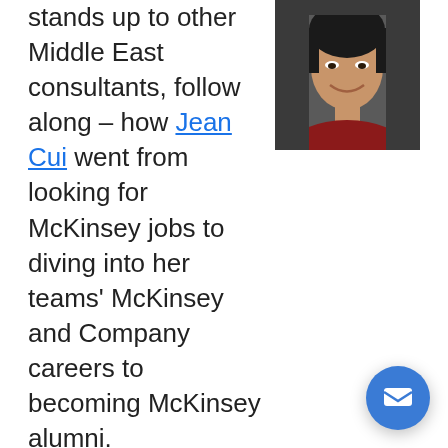stands up to other Middle East consultants, follow along – how Jean Cui went from looking for McKinsey jobs to diving into her teams' McKinsey and Company careers to becoming McKinsey alumni.
[Figure (photo): Headshot photo of a smiling Asian woman with dark hair, wearing a red top, against a dark background.]
Sure, McKinsey Dubai is not McKinsey New York or McKinsey Chicago or McKinsey Boston – but it's better in many, many ways. Plus – McKinsey is one of the companies in the Middle East hiring now. And as construction companies in Middle East countries diversify, and the Top 10 oil and gas companies in the Middle East look for pathways to the future, and retail companies in the Middle East prepare for increased disruption from e-commerce – let's say that McKinsey and Co. has never been busier.